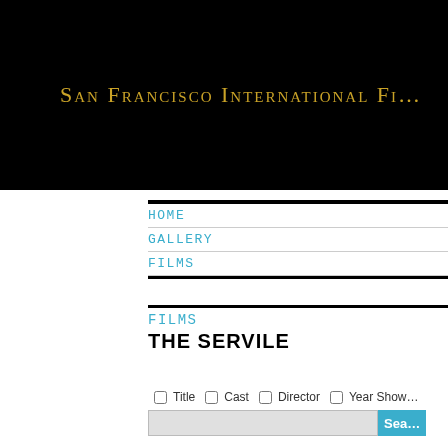San Francisco International Fi...
HOME
GALLERY
FILMS
FILMS
THE SERVILE
Title  Cast  Director  Year Show...